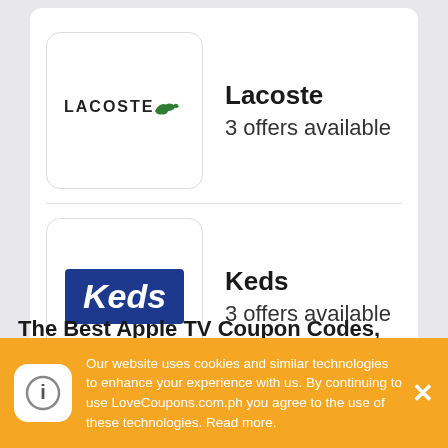[Figure (logo): Lacoste brand logo with crocodile icon and text LACOSTE]
Lacoste
3 offers available
[Figure (logo): Keds brand logo, white italic text on dark blue background]
Keds
3 offers available
[Figure (logo): Acer brand logo, white lowercase text on green background]
Acer
1 offer available
The Best Apple TV Coupon Codes, Discount
Our website uses cookies and similar technologies to enhance your experience with us. By continuing to use LoveCoupons.com.ph you agree to the use of these technologies. Read more.